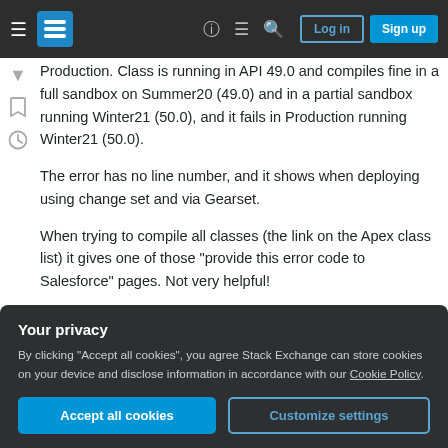Stack Exchange navigation bar with Log in and Sign up buttons
Production. Class is running in API 49.0 and compiles fine in a full sandbox on Summer20 (49.0) and in a partial sandbox running Winter21 (50.0), and it fails in Production running Winter21 (50.0).
The error has no line number, and it shows when deploying using change set and via Gearset.
When trying to compile all classes (the link on the Apex class list) it gives one of those "provide this error code to Salesforce" pages. Not very helpful!
Your privacy
By clicking "Accept all cookies", you agree Stack Exchange can store cookies on your device and disclose information in accordance with our Cookie Policy.
Accept all cookies  Customize settings